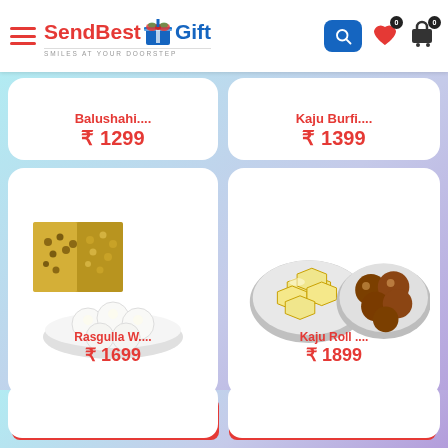SendBestGift – SMILES AT YOUR DOORSTEP
Balushahi.... ₹ 1299
Kaju Burfi.... ₹ 1399
[Figure (photo): Rasgulla with Dry Fruits product photo – gold box of dry fruits and a plate of rasgulla]
Rasgulla W.... ₹ 1699
[Figure (photo): Kaju Roll product photo – plate of kaju katli and plate of gulab jamun]
Kaju Roll .... ₹ 1899